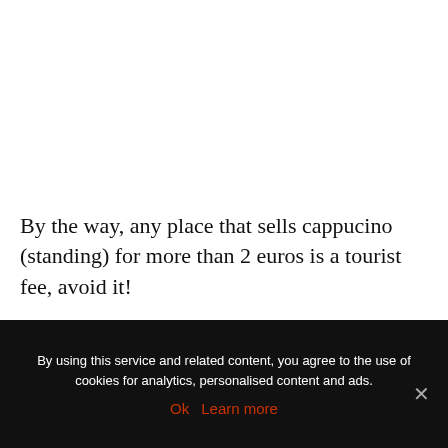By the way, any place that sells cappucino (standing) for more than 2 euros is a tourist fee, avoid it!
By using this service and related content, you agree to the use of cookies for analytics, personalised content and ads.
Ok   Learn more